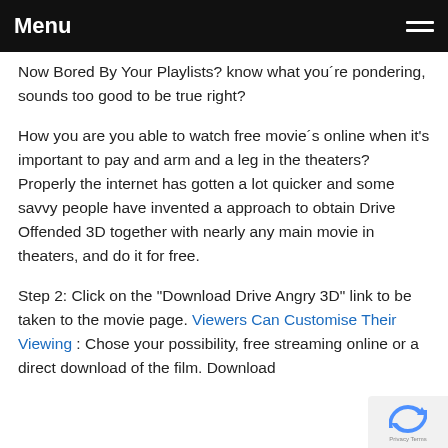Menu
Now Bored By Your Playlists? know what you´re pondering, sounds too good to be true right?
How you are you able to watch free movie´s online when it's important to pay and arm and a leg in the theaters? Properly the internet has gotten a lot quicker and some savvy people have invented a approach to obtain Drive Offended 3D together with nearly any main movie in theaters, and do it for free.
Step 2: Click on the "Download Drive Angry 3D" link to be taken to the movie page. Viewers Can Customise Their Viewing : Chose your possibility, free streaming online or a direct download of the film. Download